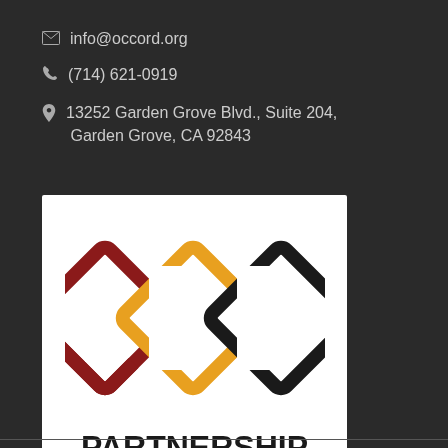✉ info@occord.org
☎ (714) 621-0919
📍 13252 Garden Grove Blvd., Suite 204, Garden Grove, CA 92843
[Figure (logo): Partnership for Working Families logo with three interlocking diamond shapes in dark red, orange/gold, and black, with text PARTNERSHIP for Working Families below]